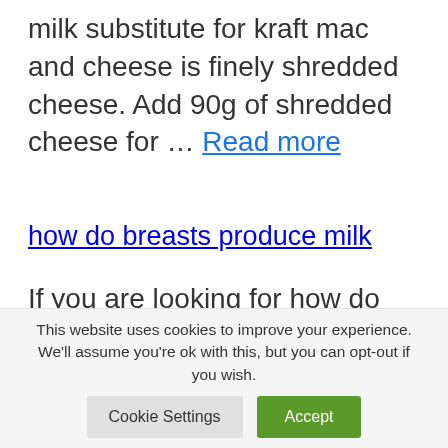milk substitute for kraft mac and cheese is finely shredded cheese. Add 90g of shredded cheese for … Read more
how do breasts produce milk
If you are looking for how do breasts produce milk , simply check out our links below: Making breast milk: How your body produces nature's perfect baby … Prompted by the hormone prolactin, the alveoli take proteins
This website uses cookies to improve your experience. We'll assume you're ok with this, but you can opt-out if you wish.